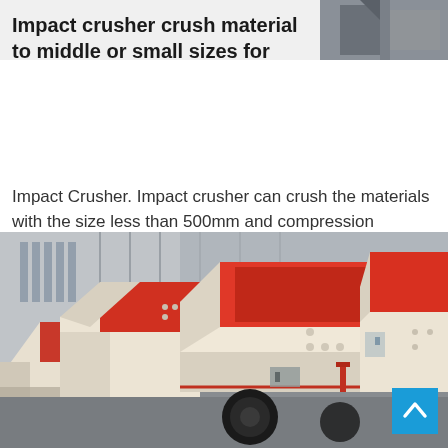[Figure (photo): Top banner photo showing industrial machinery background, partially visible on the right side]
Impact crusher crush material to middle or small sizes for
Impact Crusher. Impact crusher can crush the materials with the size less than 500mm and compression strength less than 320Mpa, such...
[Figure (photo): Photo of multiple white and red impact crusher machines lined up in an industrial yard with a grey building in the background]